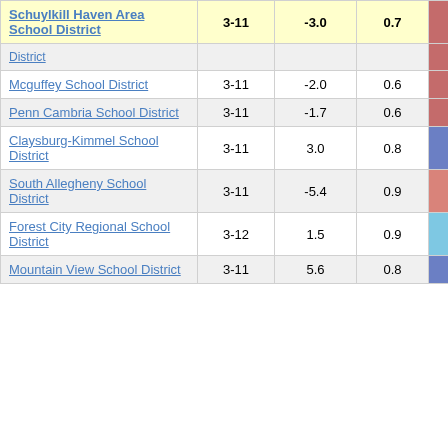| School District | Grades | Col3 | Col4 | Score |
| --- | --- | --- | --- | --- |
| Schuylkill Haven Area School District | 3-11 | -3.0 | 0.7 | -4.43 |
| [District] |  |  |  |  |
| Mcguffey School District | 3-11 | -2.0 | 0.6 | -3.48 |
| Penn Cambria School District | 3-11 | -1.7 | 0.6 | -2.92 |
| Claysburg-Kimmel School District | 3-11 | 3.0 | 0.8 | 3.68 |
| South Allegheny School District | 3-11 | -5.4 | 0.9 | -5.93 |
| Forest City Regional School District | 3-12 | 1.5 | 0.9 | 1.68 |
| Mountain View School District | 3-11 | 5.6 | 0.8 | 6.82 |